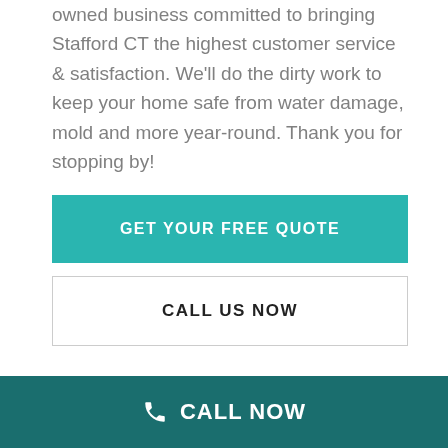owned business committed to bringing Stafford CT the highest customer service & satisfaction. We'll do the dirty work to keep your home safe from water damage, mold and more year-round. Thank you for stopping by!
GET YOUR FREE QUOTE
CALL US NOW
CALL NOW